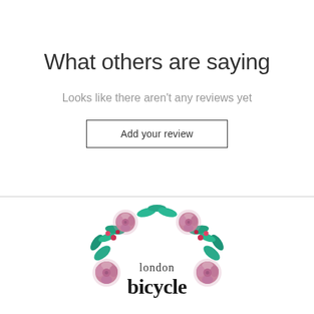What others are saying
Looks like there aren't any reviews yet
Add your review
[Figure (logo): London Bicycle logo with a floral wreath made of pink roses and teal leaves surrounding the text 'london bicycle' in handwritten script]